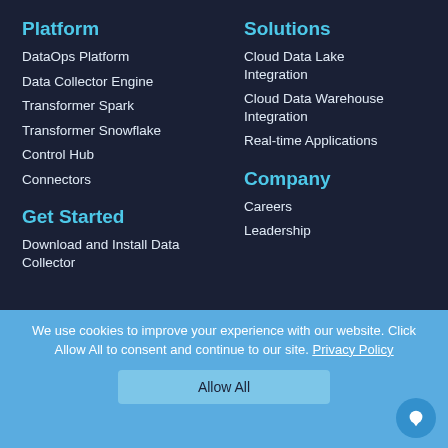Platform
DataOps Platform
Data Collector Engine
Transformer Spark
Transformer Snowflake
Control Hub
Connectors
Solutions
Cloud Data Lake Integration
Cloud Data Warehouse Integration
Real-time Applications
Get Started
Download and Install Data Collector
Company
Careers
Leadership
We use cookies to improve your experience with our website. Click Allow All to consent and continue to our site. Privacy Policy
Allow All